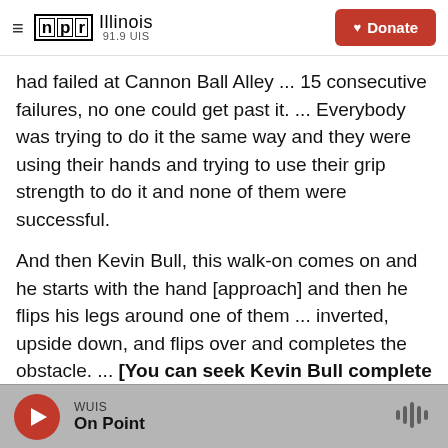NPR Illinois 91.9 UIS | Donate
had failed at Cannon Ball Alley ... 15 consecutive failures, no one could get past it. ... Everybody was trying to do it the same way and they were using their hands and trying to use their grip strength to do it and none of them were successful.
And then Kevin Bull, this walk-on comes on and he starts with the hand [approach] and then he flips his legs around one of them ... inverted, upside down, and flips over and completes the obstacle. ... [You can seek Kevin Bull complete Cannonball Alley in the video below, starting at 2:35]
WUIS | On Point